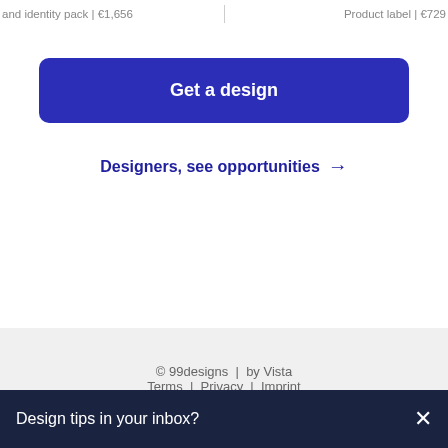and identity pack | €1,656  |  Product label | €729
Get a design
Designers, see opportunities →
© 99designs | by Vista  Terms | Privacy | Imprint  German  English
Design tips in your inbox?